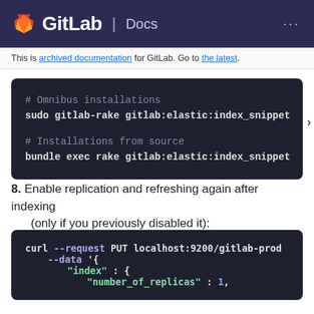GitLab Docs
This is archived documentation for GitLab. Go to the latest.
# Omnibus installations
sudo gitlab-rake gitlab:elastic:index_snippet
# Installations from source
bundle exec rake gitlab:elastic:index_snippet
8. Enable replication and refreshing again after indexing (only if you previously disabled it):
curl --request PUT localhost:9200/gitlab-prod
        --data '{
            "index" : {
                "number_of_replicas" : 1,